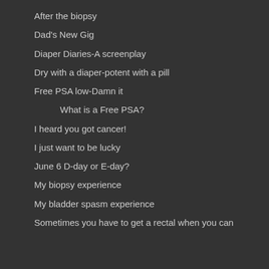After the biopsy
Dad's New Gig
Diaper Diaries-A screenplay
Dry with a diaper-potent with a pill
Free PSA low-Damn it
What is a Free PSA?
I heard you got cancer!
I just want to be lucky
June 6 D-day or E-day?
My biopsy experience
My bladder spasm experience
Sometimes you have to get a rectal when you can